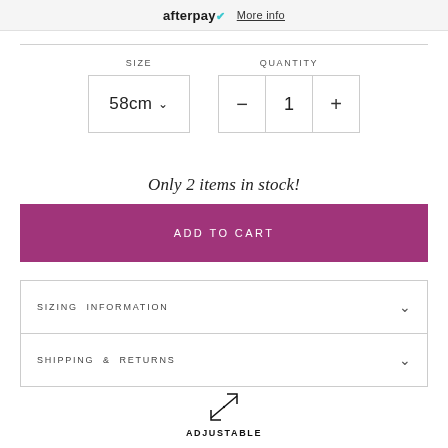[Figure (logo): Afterpay logo with teal checkmark and 'More info' underlined link]
SIZE
QUANTITY
58cm
1
Only 2 items in stock!
ADD TO CART
SIZING INFORMATION
SHIPPING & RETURNS
ADJUSTABLE